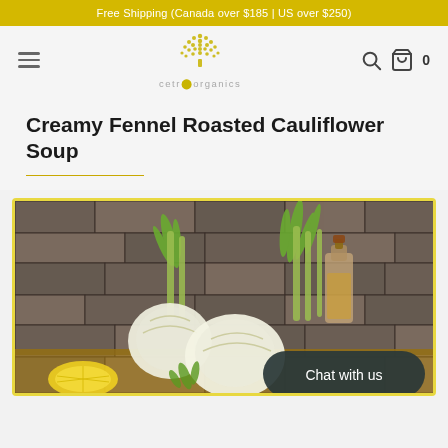Free Shipping (Canada over $185 | US over $250)
[Figure (logo): Celtr Organics logo: stylized tree made of dots/circles in yellow-green, with text 'cetr organics' below]
Creamy Fennel Roasted Cauliflower Soup
[Figure (photo): Photo of fennel bulbs with green fronds, a glass bottle of oil, garlic, lemon slices, on a rustic stone brick background. 'Chat with us' button overlaid at bottom right.]